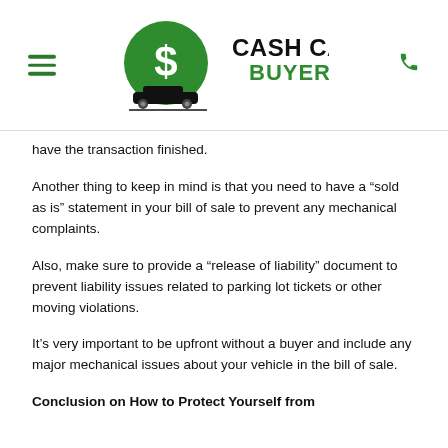Cash Cars Buyer
have the transaction finished.
Another thing to keep in mind is that you need to have a “sold as is” statement in your bill of sale to prevent any mechanical complaints.
Also, make sure to provide a “release of liability” document to prevent liability issues related to parking lot tickets or other moving violations.
It’s very important to be upfront without a buyer and include any major mechanical issues about your vehicle in the bill of sale.
Conclusion on How to Protect Yourself from